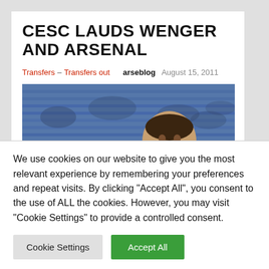CESC LAUDS WENGER AND ARSENAL
Transfers – Transfers out   arseblog   August 15, 2011
[Figure (photo): Photo of a man (Cesc Fabregas) in front of a stadium crowd with blue seats]
We use cookies on our website to give you the most relevant experience by remembering your preferences and repeat visits. By clicking "Accept All", you consent to the use of ALL the cookies. However, you may visit "Cookie Settings" to provide a controlled consent.
Cookie Settings   Accept All